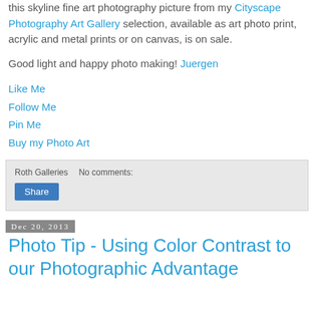this skyline fine art photography picture from my Cityscape Photography Art Gallery selection, available as art photo print, acrylic and metal prints or on canvas, is on sale.
Good light and happy photo making! Juergen
Like Me
Follow Me
Pin Me
Buy my Photo Art
Roth Galleries    No comments:
Share
Dec 20, 2013
Photo Tip - Using Color Contrast to our Photographic Advantage